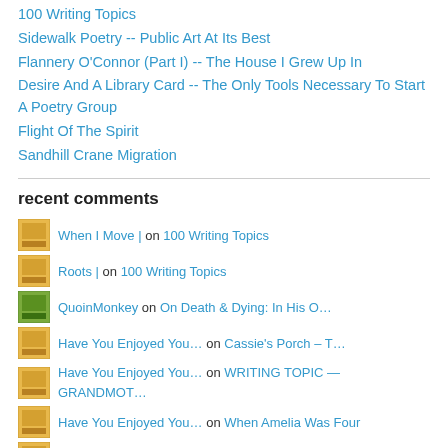100 Writing Topics
Sidewalk Poetry -- Public Art At Its Best
Flannery O'Connor (Part I) -- The House I Grew Up In
Desire And A Library Card -- The Only Tools Necessary To Start A Poetry Group
Flight Of The Spirit
Sandhill Crane Migration
recent comments
When I Move | on 100 Writing Topics
Roots | on 100 Writing Topics
QuoinMonkey on On Death & Dying: In His O…
Have You Enjoyed You… on Cassie's Porch – T…
Have You Enjoyed You… on WRITING TOPIC — GRANDMOT…
Have You Enjoyed You… on When Amelia Was Four
Have You Enjoyed You… on haiku 4 (one-a-day) Meets reng…
QuoinMonkey on The Bardo
QuoinMonkey on The Bardo